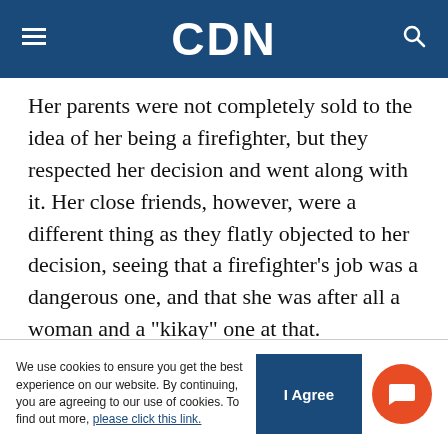CDN
Her parents were not completely sold to the idea of her being a firefighter, but they respected her decision and went along with it. Her close friends, however, were a different thing as they flatly objected to her decision, seeing that a firefighter’s job was a dangerous one, and that she was after all a woman and a “kikay” one at that.
But Dagcuta stood firm on her decision and showed up at the Bureau of Fire Protection (BFP) training,
We use cookies to ensure you get the best experience on our website. By continuing, you are agreeing to our use of cookies. To find out more, please click this link.